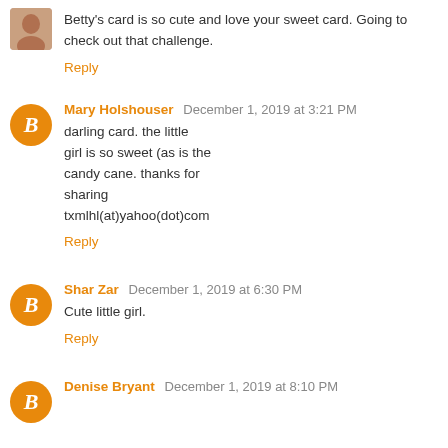Betty's card is so cute and love your sweet card. Going to check out that challenge.
Reply
Mary Holshouser  December 1, 2019 at 3:21 PM
darling card. the little girl is so sweet (as is the candy cane. thanks for sharing txmlhl(at)yahoo(dot)com
Reply
Shar Zar  December 1, 2019 at 6:30 PM
Cute little girl.
Reply
Denise Bryant  December 1, 2019 at 8:10 PM